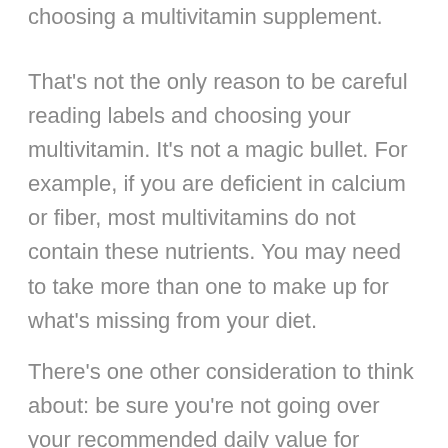choosing a multivitamin supplement.
That's not the only reason to be careful reading labels and choosing your multivitamin. It's not a magic bullet. For example, if you are deficient in calcium or fiber, most multivitamins do not contain these nutrients. You may need to take more than one to make up for what's missing from your diet.
There's one other consideration to think about: be sure you're not going over your recommended daily value for vitamins and minerals without checking with your health provider